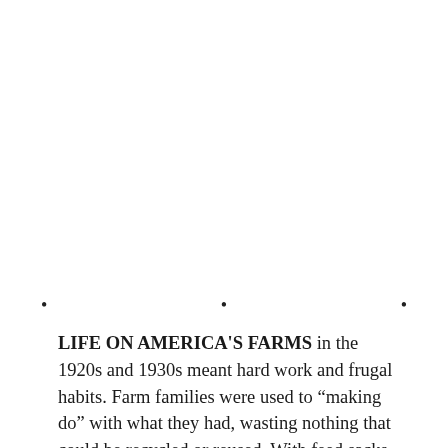• • •
LIFE ON AMERICA'S FARMS in the 1920s and 1930s meant hard work and frugal habits. Farm families were used to "making do" with what they had, wasting nothing that could be recycled or reused. With feed sacks and flour bags, farmwomen took thriftiness to